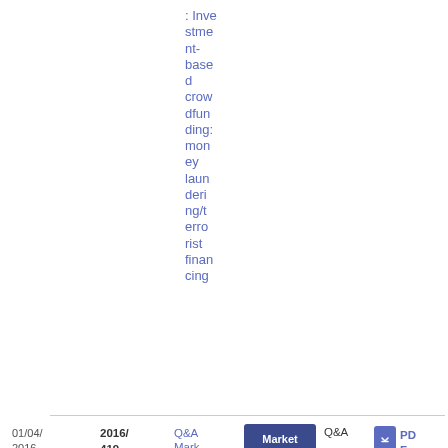: Investment-based crowdfunding: money laundering/terrorist financing
01/04/2016 | 2016/419 | Q&A Market Abuse | Market Abuse | Q&A | PDF